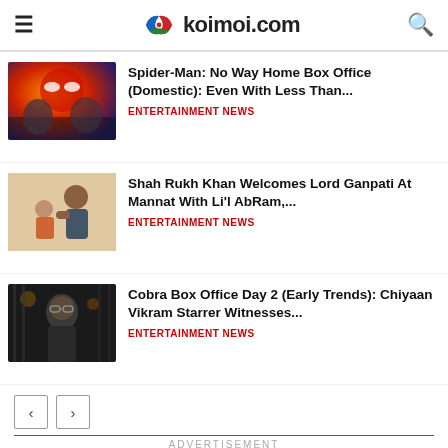koimoi.com
Spider-Man: No Way Home Box Office (Domestic): Even With Less Than... ENTERTAINMENT NEWS
Shah Rukh Khan Welcomes Lord Ganpati At Mannat With Li'l AbRam,... ENTERTAINMENT NEWS
Cobra Box Office Day 2 (Early Trends): Chiyaan Vikram Starrer Witnesses... ENTERTAINMENT NEWS
ADVERTISEMENT
[Figure (screenshot): BitLife - Life Simulator app advertisement banner with Install button]